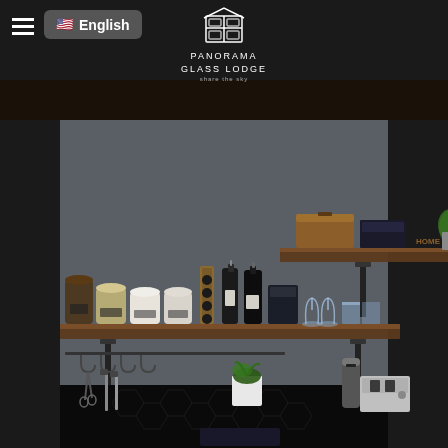English — Panorama Glass Lodge
[Figure (photo): Interior kitchen shelves of a stylish lodge. Two rustic wooden floating shelves on a grey wall, the upper shelf holding a wooden box, decorative items spelling HOME, a plant, and a framed print. The lower shelf holds glass jars with spices/grains, black knife block, two dark olive oil bottles, glass tumblers and wine glasses. Below the shelves, black hexagonal tile backsplash, hanging kitchen utensils on a rail, a small potted plant, and a toaster.]